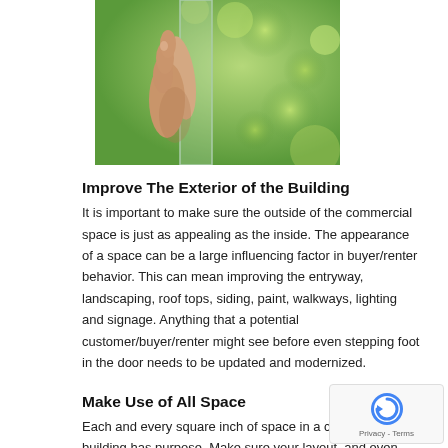[Figure (photo): A hand holding a transparent glass pane or window outdoors with green foliage in the background]
Improve The Exterior of the Building
It is important to make sure the outside of the commercial space is just as appealing as the inside. The appearance of a space can be a large influencing factor in buyer/renter behavior. This can mean improving the entryway, landscaping, roof tops, siding, paint, walkways, lighting and signage. Anything that a potential customer/buyer/renter might see before even stepping foot in the door needs to be updated and modernized.
Make Use of All Space
Each and every square inch of space in a commercial building has purpose. Make sure your layout, and even floor plan, is functional and purposeful. If there